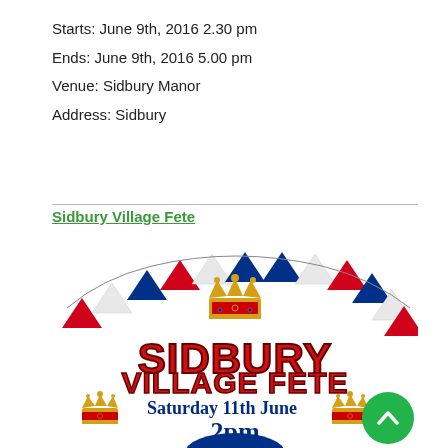Starts: June 9th, 2016 2.30 pm
Ends: June 9th, 2016 5.00 pm
Venue: Sidbury Manor
Address: Sidbury
Sidbury Village Fete
[Figure (illustration): Sidbury Village Fete promotional image with red, white and blue bunting triangles, two golden crowns, large red text 'SIDBURY VILLAGE FETE', blue text 'Saturday 11th June' and '2pm', plus a green scroll-to-top button overlay.]